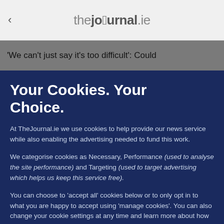thejournal.ie
'We can't just say it's too difficult': Could
Your Cookies. Your Choice.
At TheJournal.ie we use cookies to help provide our news service while also enabling the advertising needed to fund this work.
We categorise cookies as Necessary, Performance (used to analyse the site performance) and Targeting (used to target advertising which helps us keep this service free).
You can choose to 'accept all' cookies below or to only opt in to what you are happy to accept using 'manage cookies'. You can also change your cookie settings at any time and learn more about how we use cookies in our Privacy Policy.